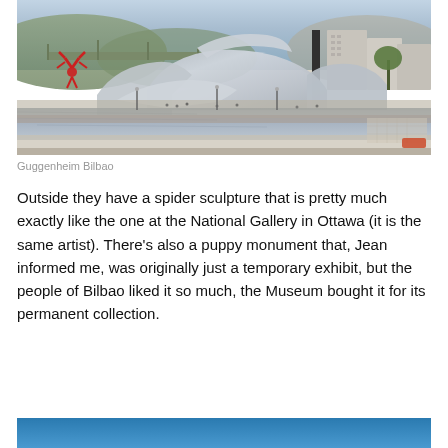[Figure (photo): Aerial/riverside view of the Guggenheim Museum Bilbao, showing the distinctive titanium-clad architecture with curved metallic forms, a red spider sculpture visible on the left, a bridge in the background, and a waterfront promenade with pedestrians.]
Guggenheim Bilbao
Outside they have a spider sculpture that is pretty much exactly like the one at the National Gallery in Ottawa (it is the same artist). There’s also a puppy monument that, Jean informed me, was originally just a temporary exhibit, but the people of Bilbao liked it so much, the Museum bought it for its permanent collection.
[Figure (photo): Bottom portion of a photo showing a blue sky, partially cropped at the bottom of the page.]